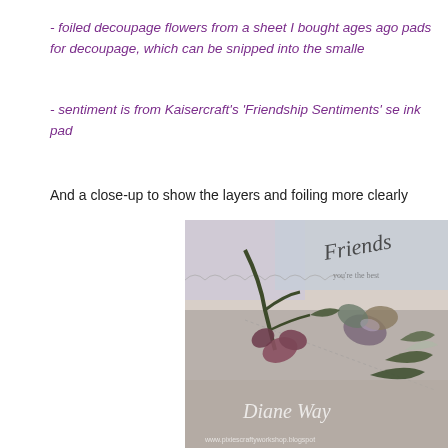- foiled decoupage flowers from a sheet I bought ages ago pads for decoupage, which can be snipped into the smalle
- sentiment is from Kaisercraft's 'Friendship Sentiments' se ink pad
And a close-up to show the layers and foiling more clearly
[Figure (photo): Close-up photograph of a handmade greeting card showing layered foiled decoupage flowers on a white card base with decorative lacy border and cursive 'Friends' sentiment stamp. Watermark reads 'Diane Way' and 'www.pixiescraftyworkshop.blogspot' at bottom.]